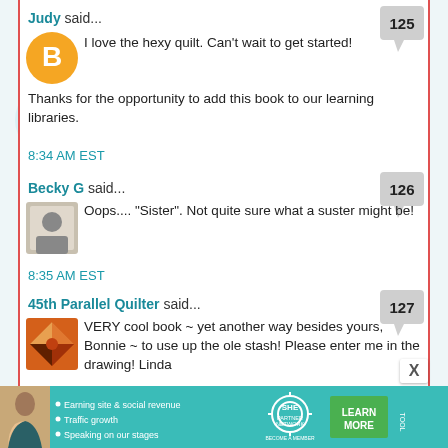Judy said... [comment 125] I love the hexy quilt. Can't wait to get started!

Thanks for the opportunity to add this book to our learning libraries.

8:34 AM EST
Becky G said... [comment 126] Oops.... "Sister". Not quite sure what a suster might be!

8:35 AM EST
45th Parallel Quilter said... [comment 127] VERY cool book ~ yet another way besides yours, Bonnie ~ to use up the ole stash! Please enter me in the drawing! Linda

8:36 AM EST
[Figure (infographic): SHE Partner Network advertisement banner with photo of woman, bullet points about earning site & social revenue, traffic growth, speaking on our stages, SHE logo, and Learn More button]